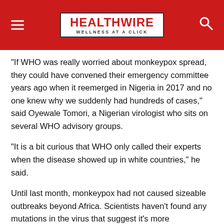HEALTHWIRE - WELLNESS AT A CLICK
“If WHO was really worried about monkeypox spread, they could have convened their emergency committee years ago when it reemerged in Nigeria in 2017 and no one knew why we suddenly had hundreds of cases,” said Oyewale Tomori, a Nigerian virologist who sits on several WHO advisory groups.
“It is a bit curious that WHO only called their experts when the disease showed up in white countries,” he said.
Until last month, monkeypox had not caused sizeable outbreaks beyond Africa. Scientists haven’t found any mutations in the virus that suggest it’s more transmissible, and a leading adviser to the WHO said last month the surge of cases in Europe was likely tied to sexual activity among